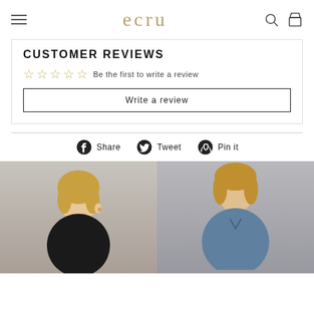ecru
CUSTOMER REVIEWS
Be the first to write a review
Write a review
Share   Tweet   Pin it
[Figure (photo): Two fashion product photos showing female models wearing clothing items from ecru brand]